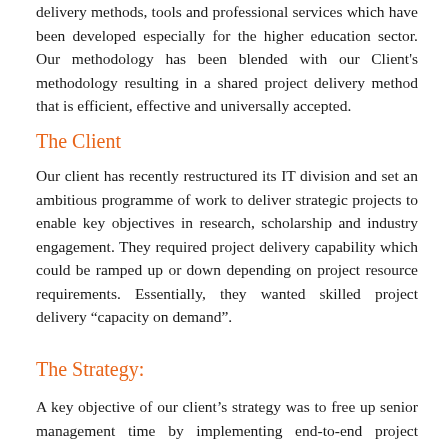delivery methods, tools and professional services which have been developed especially for the higher education sector. Our methodology has been blended with our Client's methodology resulting in a shared project delivery method that is efficient, effective and universally accepted.
The Client
Our client has recently restructured its IT division and set an ambitious programme of work to deliver strategic projects to enable key objectives in research, scholarship and industry engagement. They required project delivery capability which could be ramped up or down depending on project resource requirements. Essentially, they wanted skilled project delivery “capacity on demand”.
The Strategy:
A key objective of our client’s strategy was to free up senior management time by implementing end-to-end project delivery services from a commercial partner. This included introducing